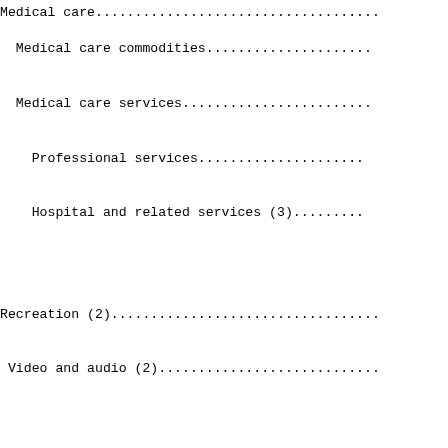Medical care....................................
Medical care commodities......................
Medical care services.........................
Professional services.......................
Hospital and related services (3)...........
Recreation (2)..................................
Video and audio (2)............................
Education and communication (2).................
Education (2)..................................
Educational books and supplies...............
Tuition, other school fees, and childcare
Communication (2)..............................
Information and information processing (1)
(2)........................................
Telephone services (1) (2)..................
Information technology, hardware and
services (1) (5).......................
Personal computers and peripheral
equipment (1) (6)....................
Other goods and services........................
Tobacco and smoking products (1)...............
Personal care..................................
Personal care products (1)....................
Personal care services (1)....................